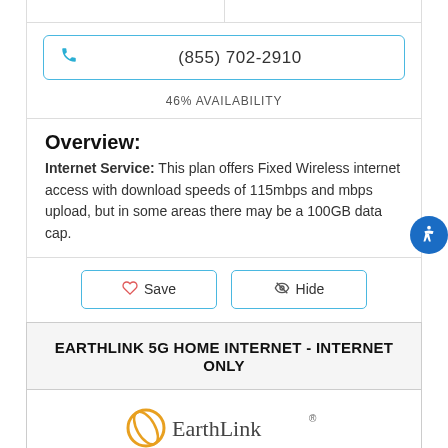(855) 702-2910
46% AVAILABILITY
Overview:
Internet Service: This plan offers Fixed Wireless internet access with download speeds of 115mbps and mbps upload, but in some areas there may be a 100GB data cap.
Save  Hide
EARTHLINK 5G HOME INTERNET - INTERNET ONLY
[Figure (logo): EarthLink logo with orange orbit/planet icon and stylized text]